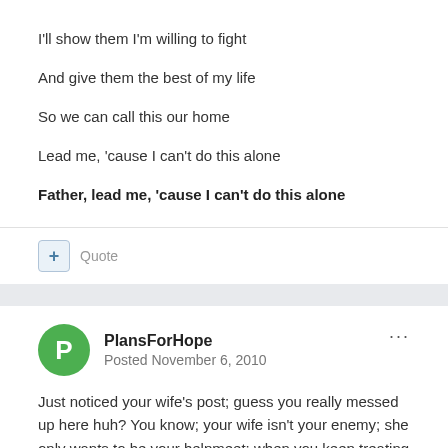I'll show them I'm willing to fight
And give them the best of my life
So we can call this our home
Lead me, 'cause I can't do this alone
Father, lead me, 'cause I can't do this alone
Quote
PlansForHope
Posted November 6, 2010
Just noticed your wife's post; guess you really messed up here huh? You know; your wife isn't your enemy; she only wants to be your helpmeet; when you keep treating her in such uncaring, un-